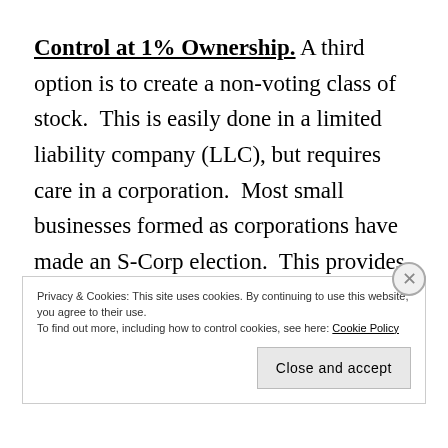Control at 1% Ownership. A third option is to create a non-voting class of stock. This is easily done in a limited liability company (LLC), but requires care in a corporation. Most small businesses formed as corporations have made an S-Corp election. This provides significant tax
Privacy & Cookies: This site uses cookies. By continuing to use this website, you agree to their use.
To find out more, including how to control cookies, see here: Cookie Policy
Close and accept